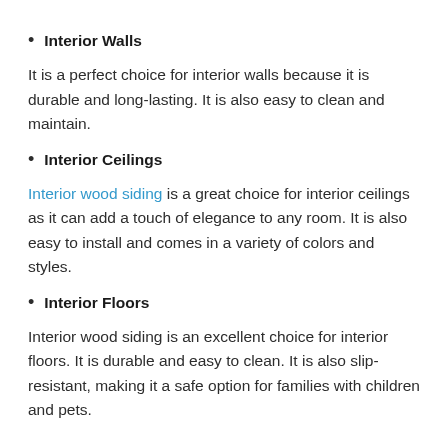Interior Walls
It is a perfect choice for interior walls because it is durable and long-lasting. It is also easy to clean and maintain.
Interior Ceilings
Interior wood siding is a great choice for interior ceilings as it can add a touch of elegance to any room. It is also easy to install and comes in a variety of colors and styles.
Interior Floors
Interior wood siding is an excellent choice for interior floors. It is durable and easy to clean. It is also slip-resistant, making it a safe option for families with children and pets.